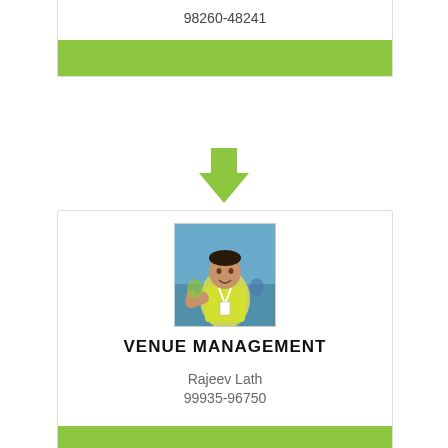98260-48241
[Figure (infographic): Green arrow pointing downward]
[Figure (photo): Photo of a man in a yellow shirt giving thumbs up at a running event]
VENUE MANAGEMENT
Rajeev Lath
99935-96750